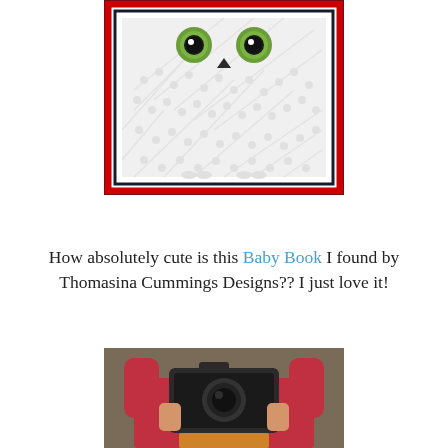[Figure (photo): Crochet baby book blanket with owl face (green eyes, black pupils, small beak) made in white, red, and black yarn, laid flat on a surface.]
How absolutely cute is this Baby Book I found by Thomasina Cummings Designs?? I just love it!
[Figure (photo): A woman in a pink/red sweater holding up a DSLR camera, obscuring her face, with a patterned scarf visible around her neck.]